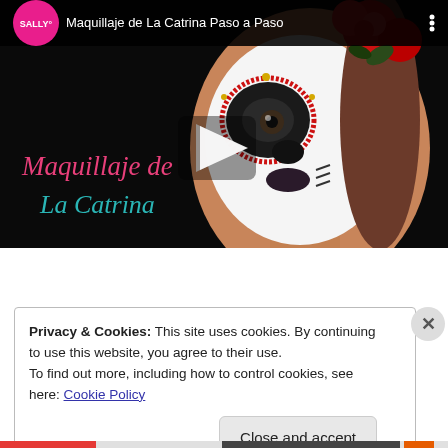[Figure (screenshot): YouTube video thumbnail showing a woman with La Catrina Day of the Dead makeup (white face, black eye sockets, red rhinestone heart around eye, red roses in hair). Video title bar shows Sally Beauty logo and 'Maquillaje de La Catrina Paso a Paso'. Overlay text reads 'Maquillaje de La Catrina' in pink/teal. A play button triangle is visible in the center.]
Privacy & Cookies: This site uses cookies. By continuing to use this website, you agree to their use.
To find out more, including how to control cookies, see here: Cookie Policy
Close and accept